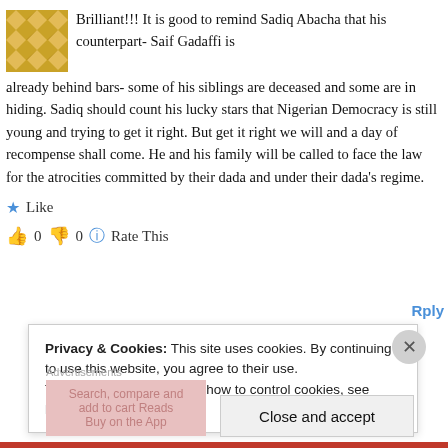[Figure (illustration): Golden geometric patterned avatar icon]
Brilliant!!! It is good to remind Sadiq Abacha that his counterpart- Saif Gadaffi is already behind bars- some of his siblings are deceased and some are in hiding. Sadiq should count his lucky stars that Nigerian Democracy is still young and trying to get it right. But get it right we will and a day of recompense shall come. He and his family will be called to face the law for the atrocities committed by their dada and under their dada's regime.
★ Like
👍 0  👎 0  ℹ Rate This
Privacy & Cookies: This site uses cookies. By continuing to use this website, you agree to their use.
To find out more, including how to control cookies, see here: Cookie Policy
Close and accept